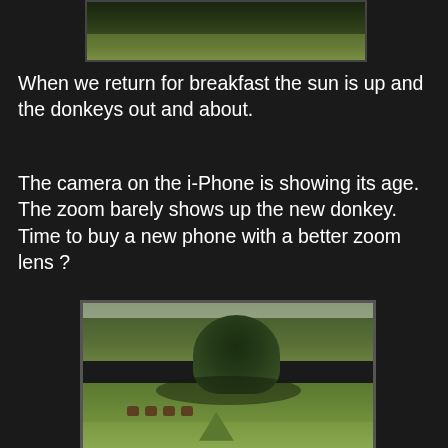[Figure (photo): Partial photo of green vegetation/trees at top of page, cropped at top]
When we return for breakfast the sun is up and the donkeys out and about.
The camera on the i-Phone is showing its age. The zoom barely shows up the new donkey.  Time to buy a new phone with a better zoom lens ?
[Figure (photo): Landscape photo showing a green field with a large tree in the center, donkeys grazing in the shade beneath it, surrounded by rolling hills and greenery]